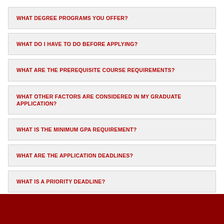WHAT DEGREE PROGRAMS YOU OFFER?
WHAT DO I HAVE TO DO BEFORE APPLYING?
WHAT ARE THE PREREQUISITE COURSE REQUIREMENTS?
WHAT OTHER FACTORS ARE CONSIDERED IN MY GRADUATE APPLICATION?
WHAT IS THE MINIMUM GPA REQUIREMENT?
WHAT ARE THE APPLICATION DEADLINES?
WHAT IS A PRIORITY DEADLINE?